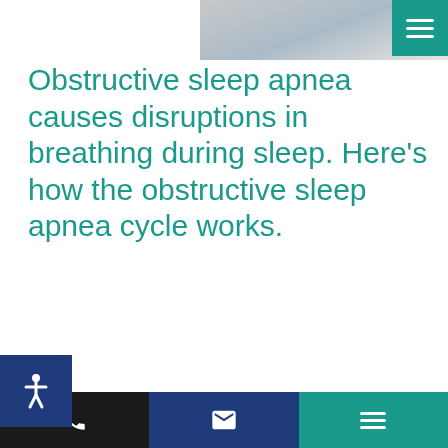[Figure (photo): Partial view of a person lying down, visible from chest up, wearing white clothing, cropped at top of page.]
Obstructive sleep apnea causes disruptions in breathing during sleep. Here’s how the obstructive sleep apnea cycle works.
[Figure (infographic): Social sharing buttons: Facebook (blue), Twitter (light blue), Pinterest (red), and a coral '+' more button.]
When you breathe, whether you’re awake or asleep, air travels down your throat, through your windpipe and into your lungs. The narrowest part of that pathway is at the back of your throat.
When you’re awake, muscles keep this pathway open, but when you’re sleeping, those muscles relax, and the opening narrows. The air passing